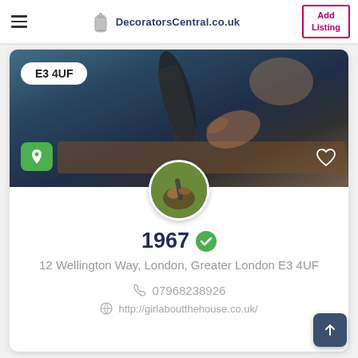DecoratorsCentral.co.uk — Add Listing
[Figure (photo): Hero banner photo of a person using a drill on wood, with a postcode badge E3 4UF, a green location pin button, and a heart icon overlay. A circular avatar photo of hands working is centered at the bottom of the hero image.]
1967
12 Wellington Way, London, Greater London E3 4UF
07968238926
http://girlaboutthehouse.co.uk/